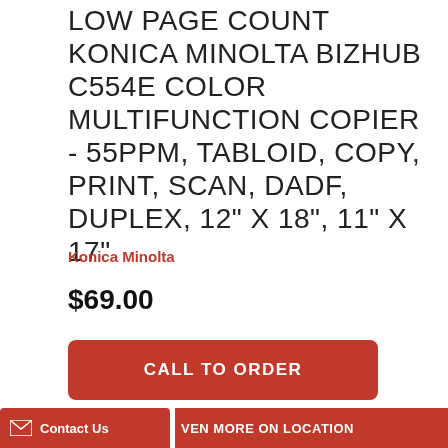LOW PAGE COUNT KONICA MINOLTA BIZHUB C554E COLOR MULTIFUNCTION COPIER - 55PPM, TABLOID, COPY, PRINT, SCAN, DADF, DUPLEX, 12" X 18", 11" X 17"
Konica Minolta
$69.00
CALL TO ORDER
Contact Us
VEN MORE ON LOCATION